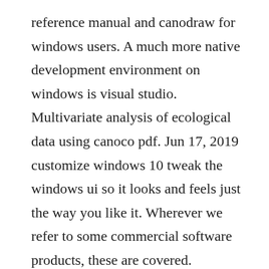reference manual and canodraw for windows users. A much more native development environment on windows is visual studio. Multivariate analysis of ecological data using canoco pdf. Jun 17, 2019 customize windows 10 tweak the windows ui so it looks and feels just the way you like it. Wherever we refer to some commercial software products, these are covered. Multivariate analysis of ecological data using canoco 5 this revised and updated edition focuses on constrained ordination rda, cca, variation partitioning and the use of